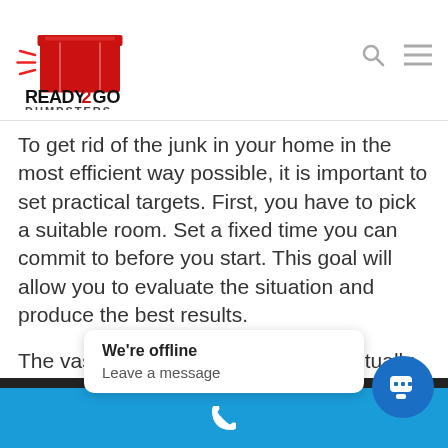[Figure (logo): Ready2Go Dumpsters logo with red dumpster icon and bold black text]
To get rid of the junk in your home in the most efficient way possible, it is important to set practical targets. First, you have to pick a suitable room. Set a fixed time you can commit to before you start. This goal will allow you to evaluate the situation and produce the best results.
The vast amount of things that are actually waste when you clean in your home is surprising. Don't fear throwing things away that aren't helpful any longer by simply ask…